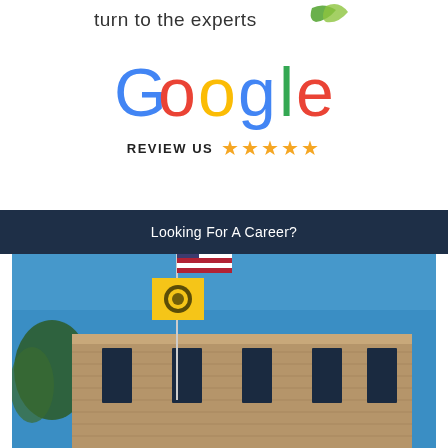[Figure (logo): Tagline reading 'turn to the experts' with green leaf logo element]
[Figure (logo): Google logo in standard multicolor letters]
REVIEW US ★★★★★
Looking For A Career?
[Figure (photo): Outdoor photo of a brick office building with an American flag and a yellow company flag on a flagpole against a blue sky]